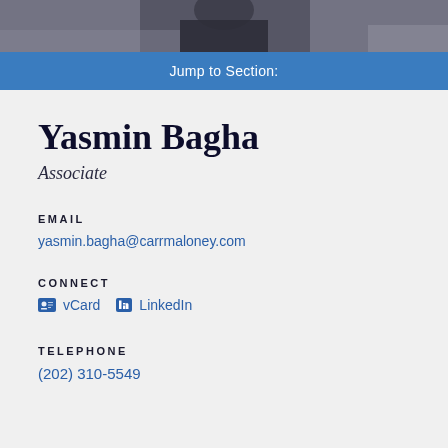[Figure (photo): Partial photo of a person in dark clothing against a light background, only lower torso/arms visible]
Jump to Section:
Yasmin Bagha
Associate
EMAIL
yasmin.bagha@carrmaloney.com
CONNECT
vCard  LinkedIn
TELEPHONE
(202) 310-5549